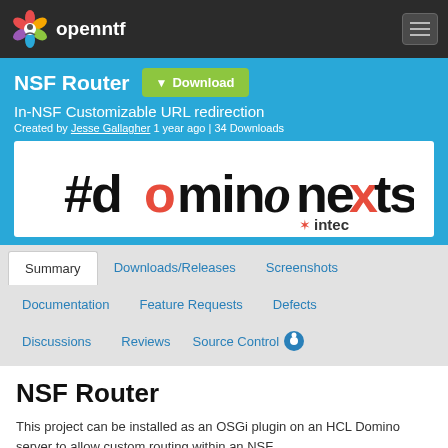openntf
NSF Router
In-NSF Customizable URL redirection
Created by Jesse Gallagher 1 year ago | 34 Downloads
[Figure (logo): #dominonextstep intec logo]
Summary
Downloads/Releases
Screenshots
Documentation
Feature Requests
Defects
Discussions
Reviews
Source Control
NSF Router
This project can be installed as an OSGi plugin on an HCL Domino server to allow custom routing within an NSF.